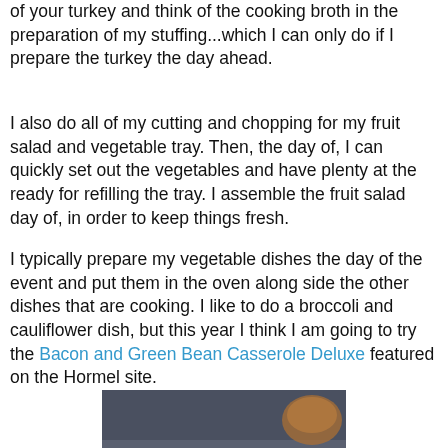of your turkey and think of the cooking broth in the preparation of my stuffing...which I can only do if I prepare the turkey the day ahead.
I also do all of my cutting and chopping for my fruit salad and vegetable tray. Then, the day of, I can quickly set out the vegetables and have plenty at the ready for refilling the tray. I assemble the fruit salad day of, in order to keep things fresh.
I typically prepare my vegetable dishes the day of the event and put them in the oven along side the other dishes that are cooking. I like to do a broccoli and cauliflower dish, but this year I think I am going to try the Bacon and Green Bean Casserole Deluxe featured on the Hormel site.
[Figure (photo): A blue casserole dish filled with Bacon and Green Bean Casserole Deluxe, showing a golden breadcrumb and bacon topping over green beans.]